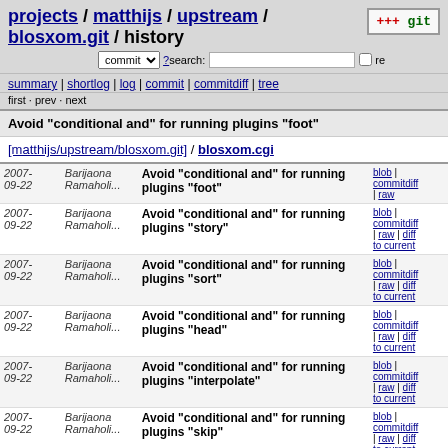projects / matthijs / upstream / blosxom.git / history
summary | shortlog | log | commit | commitdiff | tree
first · prev · next
Avoid "conditional and" for running plugins "foot"
[matthijs/upstream/blosxom.git] / blosxom.cgi
| Date | Author | Message | Links |
| --- | --- | --- | --- |
| 2007-09-22 | Barijaona Ramaholi... | Avoid "conditional and" for running plugins "foot" | blob | commitdiff | raw |
| 2007-09-22 | Barijaona Ramaholi... | Avoid "conditional and" for running plugins "story" | blob | commitdiff | raw | diff to current |
| 2007-09-22 | Barijaona Ramaholi... | Avoid "conditional and" for running plugins "sort" | blob | commitdiff | raw | diff to current |
| 2007-09-22 | Barijaona Ramaholi... | Avoid "conditional and" for running plugins "head" | blob | commitdiff | raw | diff to current |
| 2007-09-22 | Barijaona Ramaholi... | Avoid "conditional and" for running plugins "interpolate" | blob | commitdiff | raw | diff to current |
| 2007-09-22 | Barijaona Ramaholi... | Avoid "conditional and" for running plugins "skip" | blob | commitdiff | raw | diff to current |
| 2007-09-22 | Barijaona Ramaholi... | Avoid "conditional and" for... | blob |